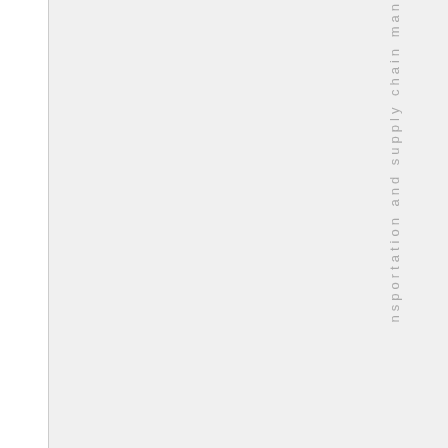nsportation and supply chain man